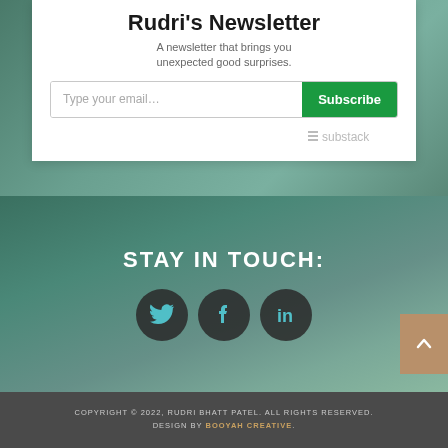Rudri's Newsletter
A newsletter that brings you unexpected good surprises.
STAY IN TOUCH:
[Figure (illustration): Social media icons: Twitter (bird), Facebook (f), LinkedIn (in) — dark circular buttons on teal background]
COPYRIGHT © 2022, RUDRI BHATT PATEL. ALL RIGHTS RESERVED. DESIGN BY BOOYAH CREATIVE.